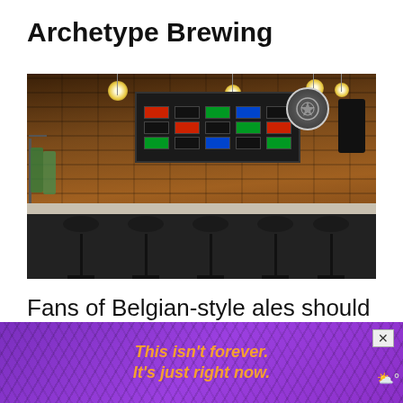Archetype Brewing
[Figure (photo): Interior of Archetype Brewing taproom showing brick walls, a long dark bar counter with white marble top, bar stools, tap handles, menu board on wall, and hanging pendant lights]
Fans of Belgian-style ales should flock to one of Archetype's two
[Figure (screenshot): Advertisement banner with purple background and sunburst rays, orange italic text reading 'This isn't forever. It's just right now.' with a close (X) button and weather app logo in corner]